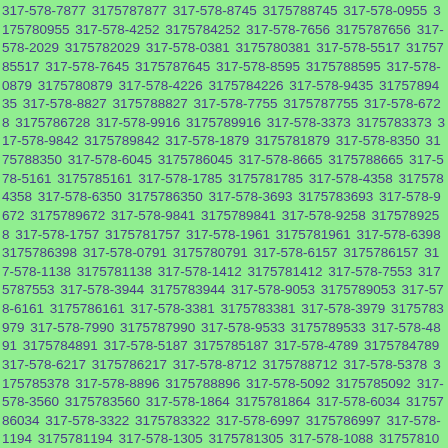317-578-7877 3175787877 317-578-8745 3175788745 317-578-0955 3175780955 317-578-4252 3175784252 317-578-7656 3175787656 317-578-2029 3175782029 317-578-0381 3175780381 317-578-5517 3175785517 317-578-7645 3175787645 317-578-8595 3175788595 317-578-0879 3175780879 317-578-4226 3175784226 317-578-9435 3175789435 317-578-8827 3175788827 317-578-7755 3175787755 317-578-6728 3175786728 317-578-9916 3175789916 317-578-3373 3175783373 317-578-9842 3175789842 317-578-1879 3175781879 317-578-8350 3175788350 317-578-6045 3175786045 317-578-8665 3175788665 317-578-5161 3175785161 317-578-1785 3175781785 317-578-4358 3175784358 317-578-6350 3175786350 317-578-3693 3175783693 317-578-9672 3175789672 317-578-9841 3175789841 317-578-9258 3175789258 317-578-1757 3175781757 317-578-1961 3175781961 317-578-6398 3175786398 317-578-0791 3175780791 317-578-6157 3175786157 317-578-1138 3175781138 317-578-1412 3175781412 317-578-7553 3175787553 317-578-3944 3175783944 317-578-9053 3175789053 317-578-6161 3175786161 317-578-3381 3175783381 317-578-3979 3175783979 317-578-7990 3175787990 317-578-9533 3175789533 317-578-4891 3175784891 317-578-5187 3175785187 317-578-4789 3175784789 317-578-6217 3175786217 317-578-8712 3175788712 317-578-5378 3175785378 317-578-8896 3175788896 317-578-5092 3175785092 317-578-3560 3175783560 317-578-1864 3175781864 317-578-6034 3175786034 317-578-3322 3175783322 317-578-6997 3175786997 317-578-1194 3175781194 317-578-1305 3175781305 317-578-1088 3175781088 317-578-1128